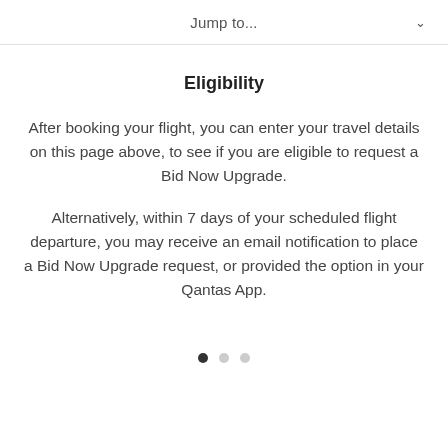Jump to...
Eligibility
After booking your flight, you can enter your travel details on this page above, to see if you are eligible to request a Bid Now Upgrade.
Alternatively, within 7 days of your scheduled flight departure, you may receive an email notification to place a Bid Now Upgrade request, or provided the option in your Qantas App.
[Figure (other): Pagination dots: three circles, first filled (active), second and third empty (inactive)]